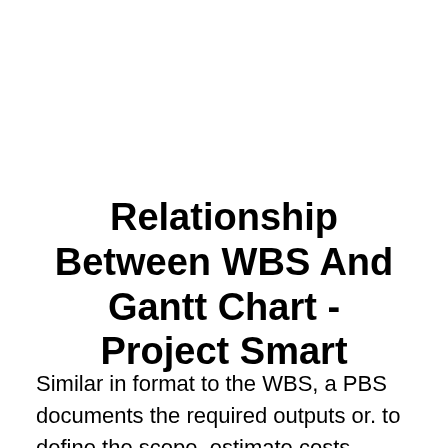Relationship Between WBS And Gantt Chart - Project Smart
Similar in format to the WBS, a PBS documents the required outputs or. to define the scope, estimate costs, allocate